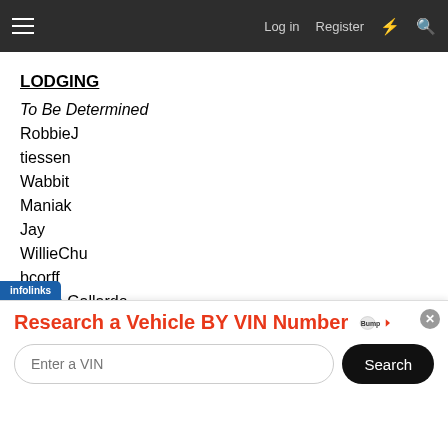Log in  Register
LODGING
To Be Determined
RobbieJ
tiessen
Wabbit
Maniak
Jay
WillieChu
bcorff
Jason Gallardo
MrBean972
dmein
[Figure (infographic): Advertisement banner: 'Research a Vehicle BY VIN Number' with BumpVin logo, VIN input field, and Search button. infolinks label visible.]